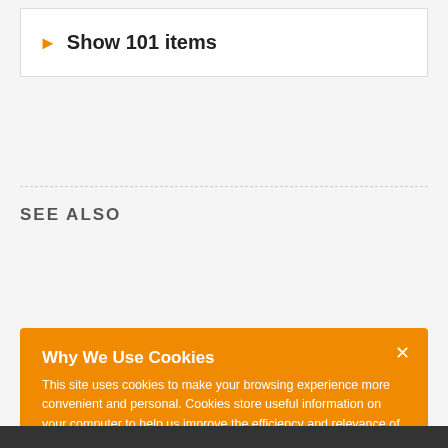Show 101 items
SEE ALSO
TemplateContainerBase Members
DevExpress.Web Namespace
Why We Use Cookies
This site uses cookies to make your browsing experience more convenient and personal. Cookies store useful information on your computer to help us improve the efficiency and relevance of our site for you. In some cases, they are essential to making the site work properly. By accessing this site, you consent to the use of cookies. For more information, refer to DevExpress' privacy policy and cookie policy.
I UNDERSTAND